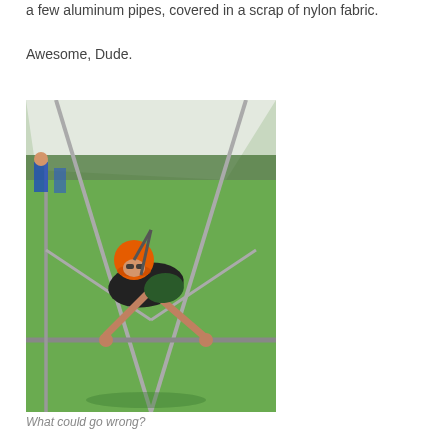a few aluminum pipes, covered in a scrap of nylon fabric.
Awesome, Dude.
[Figure (photo): Person wearing an orange helmet and black outfit suspended horizontally in a hang glider frame made of aluminum pipes. They are smiling at the camera. The setting is a grassy outdoor area with other people visible in the background.]
What could go wrong?